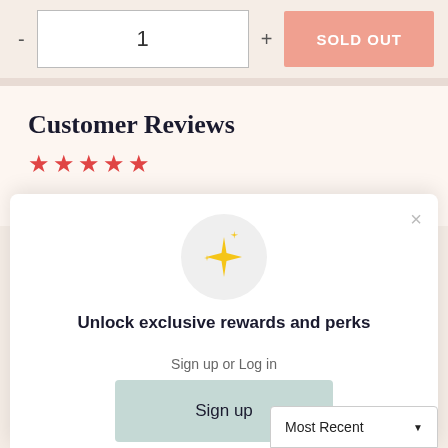- 1 + SOLD OUT
Customer Reviews
[Figure (other): Five red star rating icons]
[Figure (other): Modal popup with sparkle emoji icon, headline 'Unlock exclusive rewards and perks', sign up or log in text, Sign up button, and already have an account? Sign in link]
Unlock exclusive rewards and perks
Sign up or Log in
Sign up
Already have an account? Sign in
Most Recent